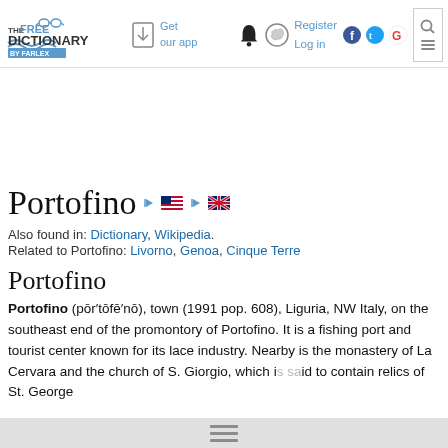The Free Dictionary by Farlex — Get our app — Register — Log in
Portofino
Also found in: Dictionary, Wikipedia.
Related to Portofino: Livorno, Genoa, Cinque Terre
Portofino
Portofino (pōr′tōfē′nō), town (1991 pop. 608), Liguria, NW Italy, on the southeast end of the promontory of Portofino. It is a fishing port and tourist center known for its lace industry. Nearby is the monastery of La Cervara and the church of S. Giorgio, which is said to contain relics of St. George